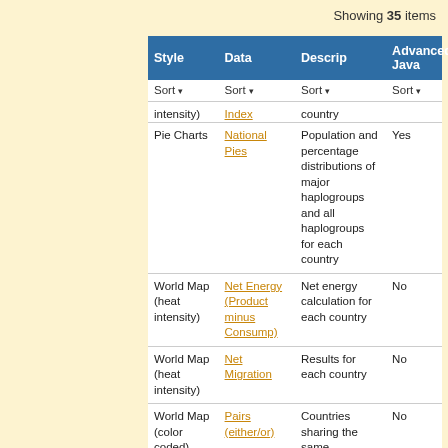Showing 35 items
| Style | Data | Descrip | Advanced Java |
| --- | --- | --- | --- |
| Sort ▾ intensity) | Sort ▾ Index | Sort ▾ country | Sort ▾ |
| Pie Charts | National Pies | Population and percentage distributions of major haplogroups and all haplogroups for each country | Yes |
| World Map (heat intensity) | Net Energy (Product minus Consump) | Net energy calculation for each country | No |
| World Map (heat intensity) | Net Migration | Results for each country | No |
| World Map (color coded) | Pairs (either/or) | Countries sharing the same ... | No |